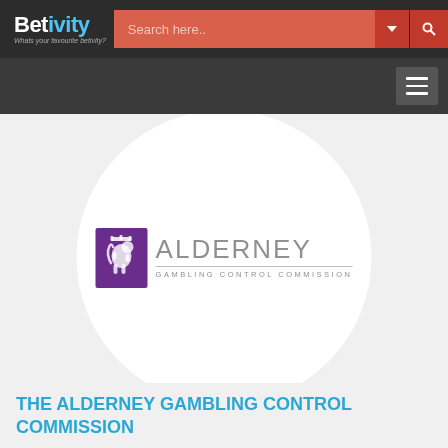Betivity.com — Search here...
[Figure (logo): Alderney Gambling Control Commission logo inside a white circle on a light gray background. Purple badge with lion crest on left, 'ALDERNEY' in large gray text and 'GAMBLING CONTROL COMMISSION' below with a horizontal rule.]
THE ALDERNEY GAMBLING CONTROL COMMISSION